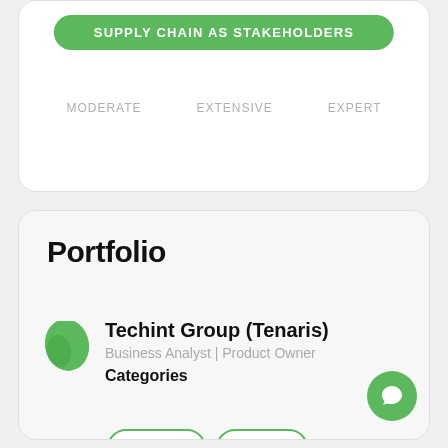SUPPLY CHAIN AS STAKEHOLDERS
MODERATE   EXTENSIVE   EXPERT
Portfolio
Techint Group (Tenaris)
Business Analyst | Product Owner
Categories
Cloud
Data
Databases
PMO